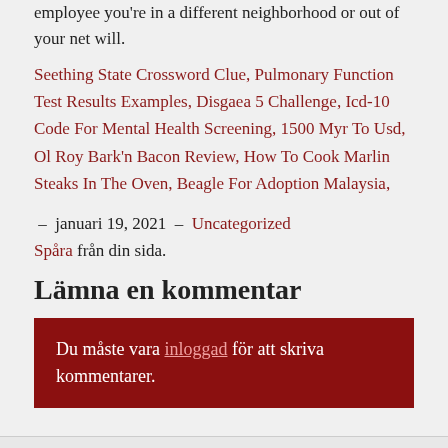employee you're in a different neighborhood or out of your net will.
Seething State Crossword Clue, Pulmonary Function Test Results Examples, Disgaea 5 Challenge, Icd-10 Code For Mental Health Screening, 1500 Myr To Usd, Ol Roy Bark'n Bacon Review, How To Cook Marlin Steaks In The Oven, Beagle For Adoption Malaysia,
– januari 19, 2021 – Uncategorized Spåra från din sida.
Lämna en kommentar
Du måste vara inloggad för att skriva kommentarer.
Recent Posts